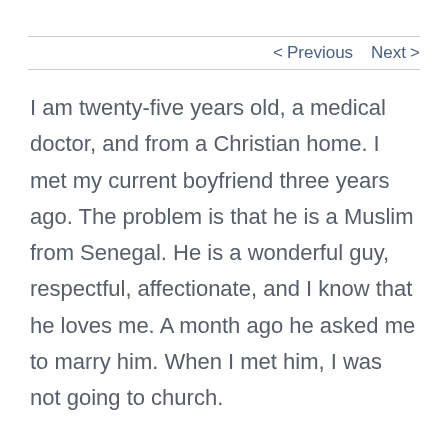< Previous   Next >
I am twenty-five years old, a medical doctor, and from a Christian home. I met my current boyfriend three years ago. The problem is that he is a Muslim from Senegal. He is a wonderful guy, respectful, affectionate, and I know that he loves me. A month ago he asked me to marry him. When I met him, I was not going to church.
I don't know what to do. I love him and would love to be his wife, but that means I would have to give